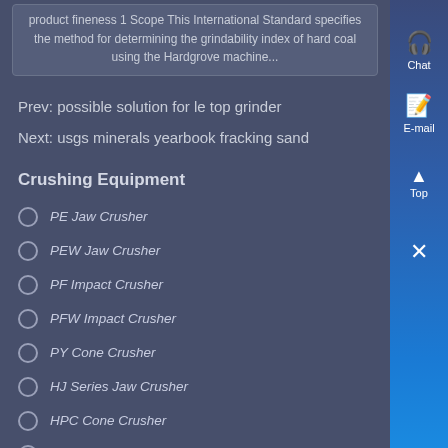product fineness 1 Scope This International Standard specifies the method for determining the grindability index of hard coal using the Hardgrove machine...
Prev: possible solution for le top grinder
Next: usgs minerals yearbook fracking sand
Crushing Equipment
PE Jaw Crusher
PEW Jaw Crusher
PF Impact Crusher
PFW Impact Crusher
PY Cone Crusher
HJ Series Jaw Crusher
HPC Cone Crusher
HPT Cone Crusher